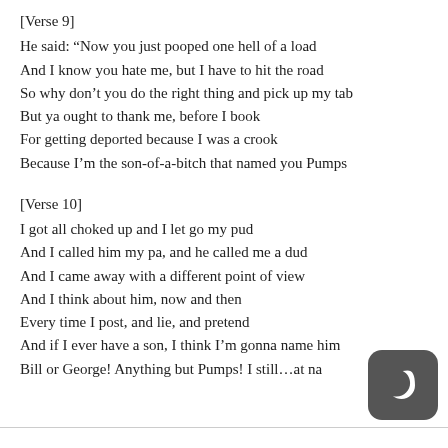[Verse 9]
He said: “Now you just pooped one hell of a load
And I know you hate me, but I have to hit the road
So why don’t you do the right thing and pick up my tab
But ya ought to thank me, before I book
For getting deported because I was a crook
Because I’m the son-of-a-bitch that named you Pumps
[Verse 10]
I got all choked up and I let go my pud
And I called him my pa, and he called me a dud
And I came away with a different point of view
And I think about him, now and then
Every time I post, and lie, and pretend
And if I ever have a son, I think I’m gonna name him
Bill or George! Anything but Pumps! I still…at na